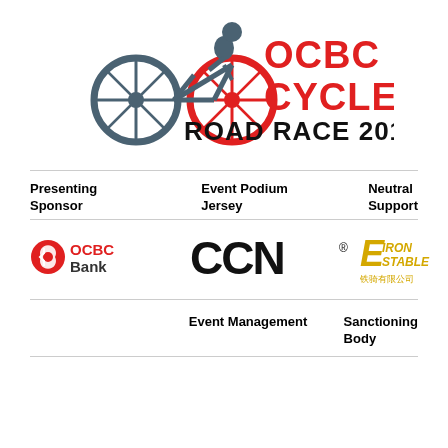[Figure (logo): OCBC Cycle Road Race 2016 event logo with cyclist silhouette, red and grey bicycle graphic, red OCBC CYCLE text and black ROAD RACE 2016 text]
Presenting Sponsor
Event Podium Jersey
Neutral Support
[Figure (logo): OCBC Bank logo - red circular icon with white shape inside, red OCBC and black Bank text]
[Figure (logo): CCN logo in bold black stylized letters with registered trademark symbol]
[Figure (logo): Iron Stable logo in yellow/gold lettering with Chinese characters below]
Event Management
Sanctioning Body